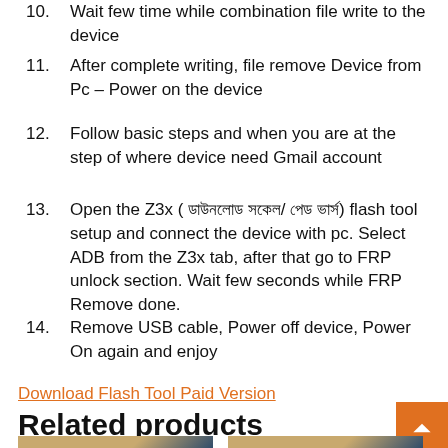10. Wait few time while combination file write to the device
11. After complete writing, file remove Device from Pc – Power on the device
12. Follow basic steps and when you are at the step of where device need Gmail account
13. Open the Z3x ( ডাউনলোড সকেল/ পেড ভার্স) flash tool setup and connect the device with pc. Select ADB from the Z3x tab, after that go to FRP unlock section. Wait few seconds while FRP Remove done.
14. Remove USB cable, Power off device, Power On again and enjoy
Download Flash Tool Paid Version
Related products